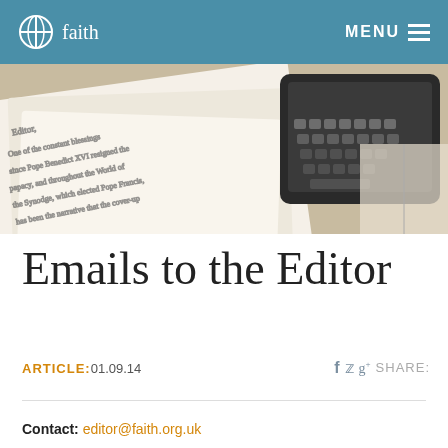faith   MENU
[Figure (photo): Photo of handwritten letters on paper with a tablet/keyboard device visible, suggesting correspondence and digital communication.]
Emails to the Editor
ARTICLE: 01.09.14   f  y  g+  SHARE:
Contact: editor@faith.org.uk